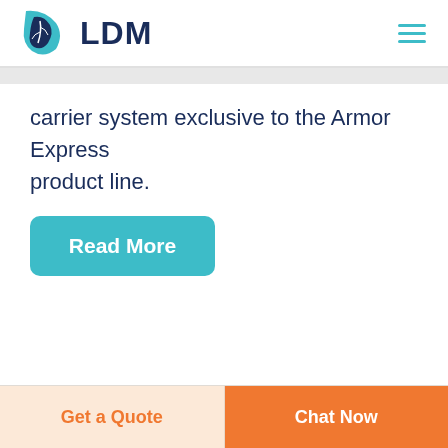LDM
carrier system exclusive to the Armor Express product line.
Read More
Get a Quote  Chat Now